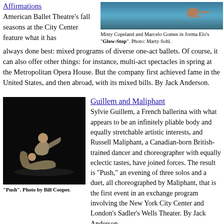Affirmations
American Ballet Theatre's fall seasons at the City Center feature what it has always done best: mixed programs of diverse one-act ballets. Of course, it can also offer other things: for instance, multi-act spectacles in spring at the Metropolitan Opera House. But the company first achieved fame in the United States, and then abroad, with its mixed bills. By Jack Anderson.
[Figure (photo): Photo of Misty Copeland and Marcelo Gomes in water scene from Jorma Elo's Glow-Stop]
Misty Copeland and Marcelo Gomes in Jorma Elo's "Glow-Stop". Photo: Marty Sohl.
[Figure (photo): Black and white photo of two dancers in Push, one supporting the other in a low position on stage]
"Push". Photo by Bill Cooper.
Guillem and Maliphant
Sylvie Guillem, a French ballerina with what appears to be an infinitely pliable body and equally stretchable artistic interests, and Russell Maliphant, a Canadian-born British-trained dancer and choreographer with equally eclectic tastes, have joined forces. The result is "Push," an evening of three solos and a duet, all choreographed by Maliphant, that is the first event in an exchange program involving the New York City Center and London's Sadler's Wells Theater. By Jack Anderson.